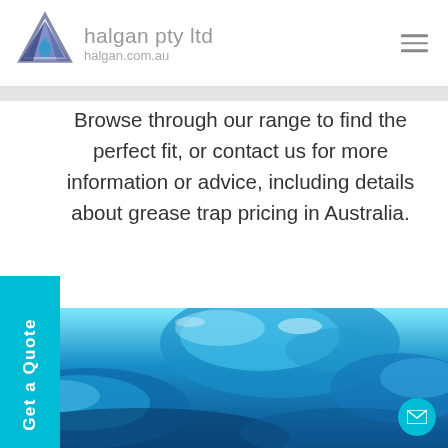halgan pty ltd halgan.com.au
Browse through our range to find the perfect fit, or contact us for more information or advice, including details about grease trap pricing in Australia.
[Figure (other): Cyan 'Get a Quote' vertical sidebar button on left edge]
[Figure (photo): Close-up photo of blue water splashing]